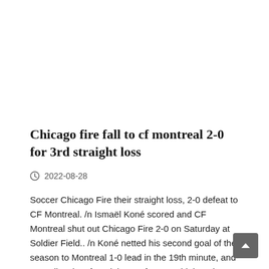Chicago fire fall to cf montreal 2-0 for 3rd straight loss
2022-08-28
Soccer Chicago Fire their straight loss, 2-0 defeat to CF Montreal. /n Ismaël Koné scored and CF Montreal shut out Chicago Fire 2-0 on Saturday at Soldier Field.. /n Koné netted his second goal of the season to Montreal 1-0 lead in the 19th minute, and Romell Quioto found the net for team-high 15th time…..